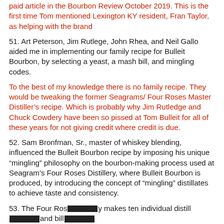paid article in the Bourbon Review October 2019. This is the first time Tom mentioned Lexington KY resident, Fran Taylor, as helping with the brand
51. Art Peterson, Jim Rutlege, John Rhea, and Neil Gallo aided me in implementing our family recipe for Bulleit Bourbon, by selecting a yeast, a mash bill, and mingling codes.
To the best of my knowledge there is no family recipe. They would be tweaking the former Seagrams/ Four Roses Master Distiller's recipe. Which is probably why Jim Rutledge and Chuck Cowdery have been so pissed at Tom Bulleit for all of these years for not giving credit where credit is due.
52. Sam Bronfman, Sr., master of whiskey blending, influenced the Bulleit Bourbon recipe by imposing his unique “mingling” philosophy on the bourbon-making process used at Seagram’s Four Roses Distillery, where Bulleit Bourbon is produced, by introducing the concept of “mingling” distillates to achieve taste and consistency.
53. The Four Ros— makes ten individual distill— and bill—